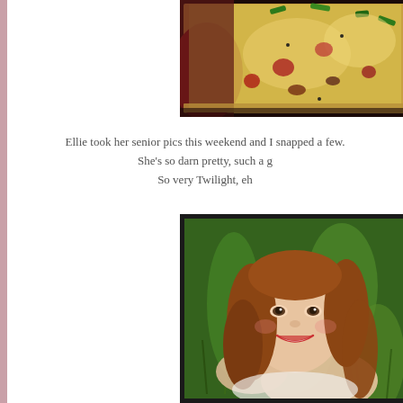[Figure (photo): Close-up photo of pizza with colorful toppings including green peppers, red sauce, cheese and herbs, partially cropped at edges]
Ellie took her senior pics this weekend and I snapped a few.
She's so darn pretty, such a g
So very Twilight, eh
[Figure (photo): Portrait photo of a smiling young woman with long reddish-brown hair lying in green grass, looking up at camera]